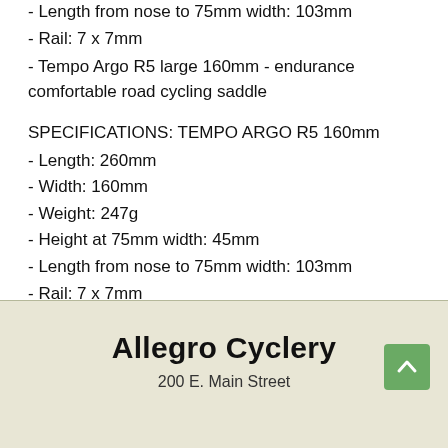- Length from nose to 75mm width: 103mm
- Rail: 7 x 7mm
- Tempo Argo R5 large 160mm - endurance comfortable road cycling saddle
SPECIFICATIONS: TEMPO ARGO R5 160mm
- Length: 260mm
- Width: 160mm
- Weight: 247g
- Height at 75mm width: 45mm
- Length from nose to 75mm width: 103mm
- Rail: 7 x 7mm
Allegro Cyclery
200 E. Main Street